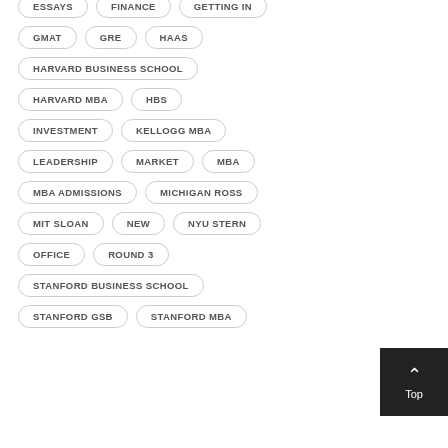DUKE FUQUA
EMPLOYMENT
ESSAYS
FINANCE
GETTING IN
GMAT
GRE
HAAS
HARVARD BUSINESS SCHOOL
HARVARD MBA
HBS
INVESTMENT
KELLOGG MBA
LEADERSHIP
MARKET
MBA
MBA ADMISSIONS
MICHIGAN ROSS
MIT SLOAN
NEW
NYU STERN
OFFICE
ROUND 3
STANFORD BUSINESS SCHOOL
STANFORD GSB
STANFORD MBA